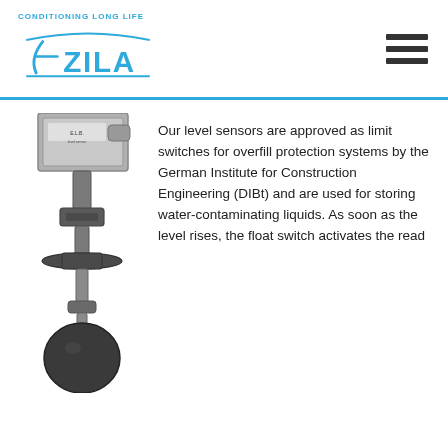[Figure (logo): ZILA logo with tagline 'CONDITIONING LONG LIFE' and stylized arrow graphic in blue]
[Figure (photo): Industrial float level sensor / limit switch device, black and grey metal construction, vertical orientation with float ball at bottom]
Our level sensors are approved as limit switches for overfill protection systems by the German Institute for Construction Engineering (DIBt) and are used for storing water-contaminating liquids. As soon as the level rises, the float switch activates the read...